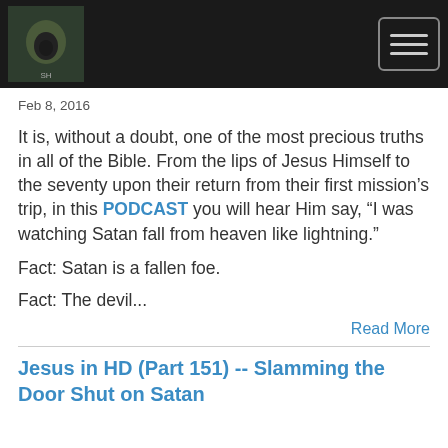[Logo] [Hamburger menu button]
Feb 8, 2016
It is, without a doubt, one of the most precious truths in all of the Bible. From the lips of Jesus Himself to the seventy upon their return from their first mission's trip, in this PODCAST you will hear Him say, “I was watching Satan fall from heaven like lightning.”
Fact: Satan is a fallen foe.
Fact: The devil...
Read More
Jesus in HD (Part 151) -- Slamming the Door Shut on Satan